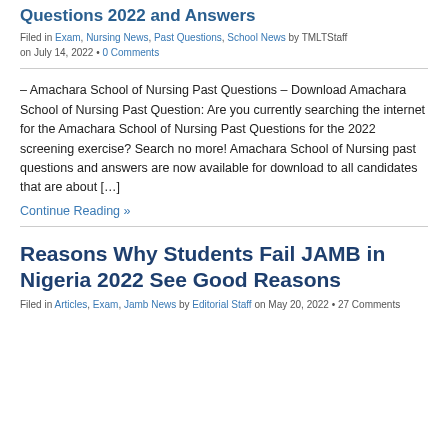Questions 2022 and Answers
Filed in Exam, Nursing News, Past Questions, School News by TMLTStaff on July 14, 2022 • 0 Comments
– Amachara School of Nursing Past Questions – Download Amachara School of Nursing Past Question: Are you currently searching the internet for the Amachara School of Nursing Past Questions for the 2022 screening exercise? Search no more! Amachara School of Nursing past questions and answers are now available for download to all candidates that are about […]
Continue Reading »
Reasons Why Students Fail JAMB in Nigeria 2022 See Good Reasons
Filed in Articles, Exam, Jamb News by Editorial Staff on May 20, 2022 • 27 Comments